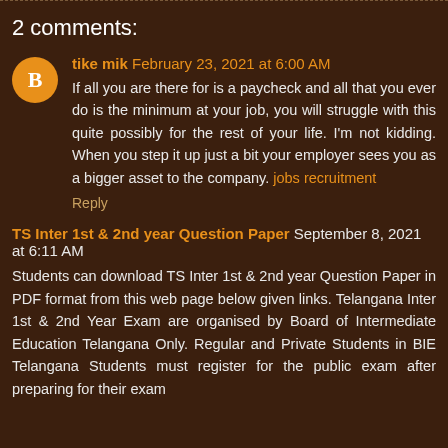2 comments:
tike mik February 23, 2021 at 6:00 AM
If all you are there for is a paycheck and all that you ever do is the minimum at your job, you will struggle with this quite possibly for the rest of your life. I'm not kidding. When you step it up just a bit your employer sees you as a bigger asset to the company. jobs recruitment
Reply
TS Inter 1st & 2nd year Question Paper September 8, 2021 at 6:11 AM
Students can download TS Inter 1st & 2nd year Question Paper in PDF format from this web page below given links. Telangana Inter 1st & 2nd Year Exam are organised by Board of Intermediate Education Telangana Only. Regular and Private Students in BIE Telangana Students must register for the public exam after preparing for their exam